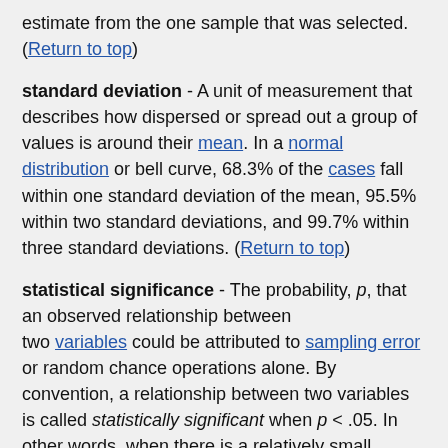estimate from the one sample that was selected. (Return to top)
standard deviation - A unit of measurement that describes how dispersed or spread out a group of values is around their mean. In a normal distribution or bell curve, 68.3% of the cases fall within one standard deviation of the mean, 95.5% within two standard deviations, and 99.7% within three standard deviations. (Return to top)
statistical significance - The probability, p, that an observed relationship between two variables could be attributed to sampling error or random chance operations alone. By convention, a relationship between two variables is called statistically significant when p < .05. In other words, when there is a relatively small chance (less than 5 in 100) that the observed relationship could